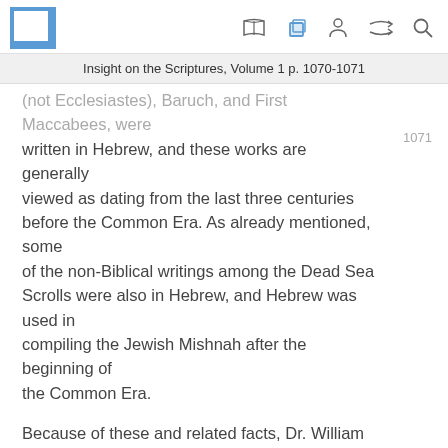Insight on the Scriptures, Volume 1 p. 1070-1071
(not Ecclesiastes), Baruch, and First Maccabees, were written in Hebrew, and these works are generally viewed as dating from the last three centuries before the Common Era. As already mentioned, some of the non-Biblical writings among the Dead Sea Scrolls were also in Hebrew, and Hebrew was used in compiling the Jewish Mishnah after the beginning of the Common Era.
Because of these and related facts, Dr. William Chomsky states that the theory held by some Jewish and non-Jewish scholars that Aramaic had completely displaced Hebrew is without any foundation and has been effectively disproved. If anything, it is more likely that the Jews became a bilingual people, but with Hebrew prevailing as the preferred tongue. As